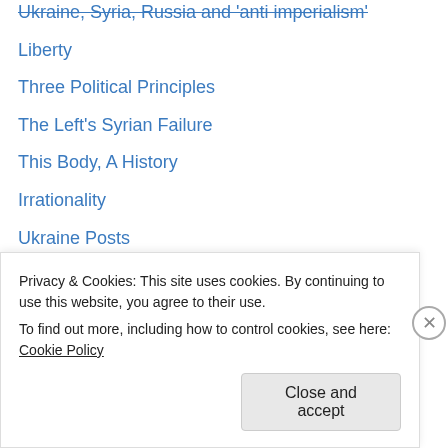Ukraine, Syria, Russia and 'anti imperialism'
Liberty
Three Political Principles
The Left's Syrian Failure
This Body, A History
Irrationality
Ukraine Posts
Mossland
Decline and Fall
Aria
A Pure Heart
The Parisian
Godsend
A Labyrinth of Suffering
Privacy & Cookies: This site uses cookies. By continuing to use this website, you agree to their use.
To find out more, including how to control cookies, see here: Cookie Policy
Close and accept